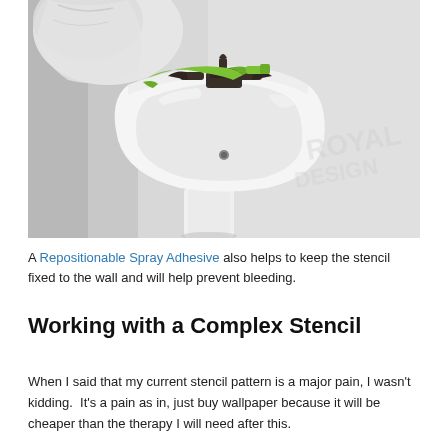[Figure (photo): A white pedestal sink in a bathroom with dark bronze faucet handles, a green object resting on the sink edge, and a plastic bag visible in the upper left corner against a white wall. A watermark is faintly visible on the right side.]
A Repositionable Spray Adhesive also helps to keep the stencil fixed to the wall and will help prevent bleeding.
Working with a Complex Stencil
When I said that my current stencil pattern is a major pain, I wasn't kidding.  It's a pain as in, just buy wallpaper because it will be cheaper than the therapy I will need after this.